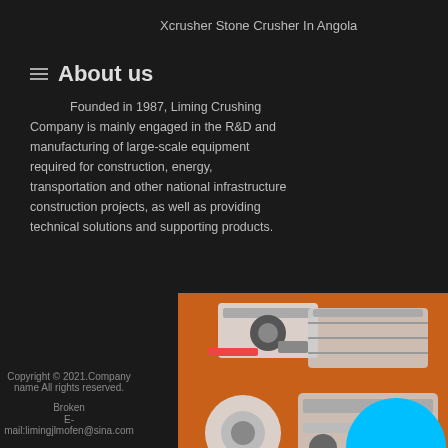Xcrusher Stone Crusher In Angola
About us
Founded in 1987, Liming Crushing Company is mainly engaged in the R&D and manufacturing of large-scale equipment required for construction, energy, transportation and other national infrastructure construction projects, as well as providing technical solutions and supporting products.
[Figure (illustration): Advertisement panel showing stone crushing machinery equipment on orange background with 'Enjoy 3%' and 'Click to...' promotional text, Enquiry button, and contact email limingjlmofen@sina.com]
Copyright © 2021.Company name All rights reserved.
Broken
E-mail:limingjlmofen@sina.com